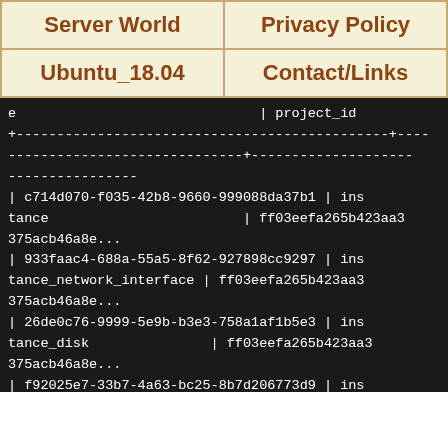| Server World | Privacy Policy |
| --- | --- |
| Ubuntu_18.04 | Contact/Links |
e                              | project_id
+----------------------------------------------+----
-----------------------------+--------------------
----------------
| c714d070-f035-42b8-9660-999088da37b1 | ins
tance                        | ff03eefa265b423aa3
375acb46a8e...
| 933faac4-688a-55a5-8f62-927898cc9297 | ins
tance_network_interface | ff03eefa265b423aa3
375acb46a8e...
| 26de0c76-9999-5e9b-b3e3-758a1af1b5e3 | ins
tance_disk               | ff03eefa265b423aa3
375acb46a8e...
| f92025e7-33b7-4a63-bc25-8b7d206773d9 | ins
tance                        | ff03eefa265b423aa3
375acb46a8e...
+----------------------------------------------+----
-----------------------------+--------------------
--------------